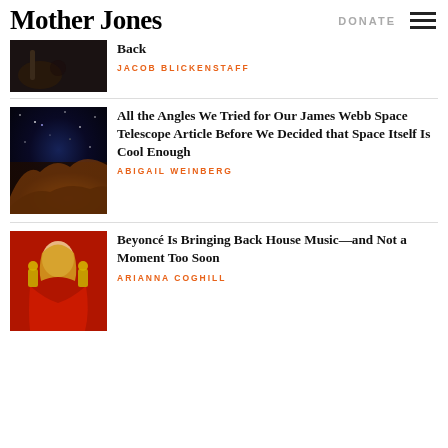Mother Jones | DONATE
[Figure (photo): Partial view of article image - musician/person with guitar in dark setting]
Back
JACOB BLICKENSTAFF
[Figure (photo): James Webb Space Telescope image of nebula - Carina Nebula with stars and cosmic clouds]
All the Angles We Tried for Our James Webb Space Telescope Article Before We Decided that Space Itself Is Cool Enough
ABIGAIL WEINBERG
[Figure (photo): Beyoncé in red dress holding Grammy awards]
Beyoncé Is Bringing Back House Music—and Not a Moment Too Soon
ARIANNA COGHILL